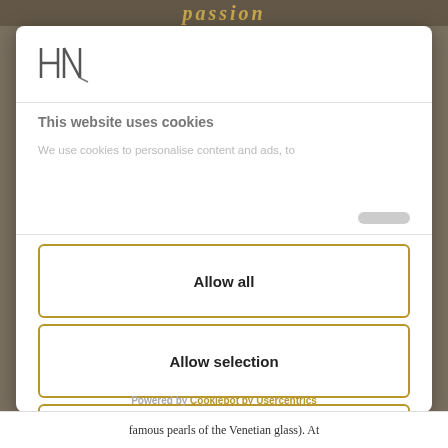passion
[Figure (logo): Stylized H and N letter logo in dark gray]
This website uses cookies
We use cookies to personalise content and ads, to
Allow all
Allow selection
Deny
Powered by Cookiebot by Usercentrics
famous pearls of the Venetian glass). At